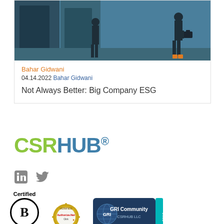[Figure (illustration): Illustrated image of a person with a briefcase in a teal/blue corridor with large dark shapes]
Bahar Gidwani
04.14.2022 Bahar Gidwani
Not Always Better: Big Company ESG
[Figure (logo): CSRHUB® logo with CSR in green/lime and HUB in teal blue]
[Figure (logo): LinkedIn and Twitter social media icons]
[Figure (logo): Certified B Corporation circle logo]
[Figure (logo): Authorize.Net Verified Merchant seal]
[Figure (logo): GRI Community CSRHUB LLC 2019 badge]